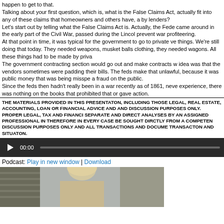happen to get to that. Talking about your first question, which is, what is the False Claims Act, actually fit into any of these claims that homeowners and others have, a by lenders? Let's start out by telling what the False Claims Act is. Actually, the Fede came around in the early part of the Civil War, passed during the Lincol prevent war profiteering. At that point in time, it was typical for the government to go to private ve things. We're still doing that today. They needed weapons, musket balls clothing, they needed wagons. All these things had to be made by priva The government contracting section would go out and make contracts w idea was that the vendors sometimes were padding their bills. The feds make that unlawful, because it was public money that was being misspe a fraud on the public. Since the feds then hadn't really been in a war recently as of 1861, nev experience, there was nothing on the books that prohibited that or gave action.
THE MATERIALS PROVIDED IN THIS PRESENTATON, INCLUDING THOSE LEGAL, REAL ESTATE, ACCOUNTING, LOAN OR FINANCIAL ADVICE AND AND DISCUSSION PURPOSES ONLY. PROPER LEGAL, TAX AND FINANCI SEPARATE AND DIRECT ANALYSES BY AN ASSIGNED PROFESSIONAL IN THEREFORE IN EVERY CASE BE SOUGHT DIRCTLY FROM A COMPETEN DISCUSSION PURPOSES ONLY AND ALL TRANSACTIONS AND DOCUME TRANSACTON AND SITUATON.
[Figure (other): Audio player bar with play button and timestamp 00:00]
Podcast: Play in new window | Download
[Figure (photo): Photo of a person with light/blonde hair, appears to be in front of bookshelves]